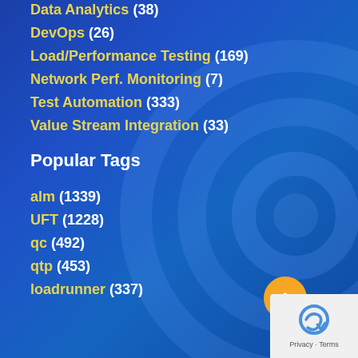Data Analytics (38)
DevOps (26)
Load/Performance Testing (169)
Network Perf. Monitoring (7)
Test Automation (333)
Value Stream Integration (33)
Popular Tags
alm (1339)
UFT (1228)
qc (492)
qtp (453)
loadrunner (337)